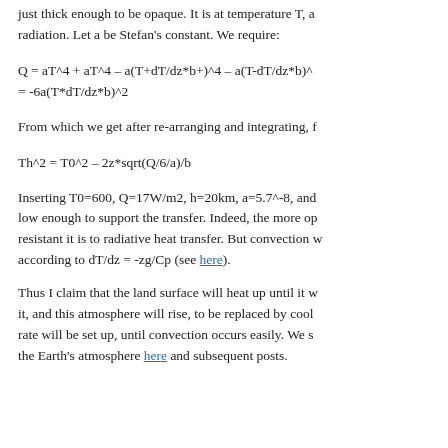just thick enough to be opaque. It is at temperature T, a radiation. Let a be Stefan's constant. We require:
From which we get after re-arranging and integrating, f
Inserting T0=600, Q=17W/m2, h=20km, a=5.7^-8, and low enough to support the transfer. Indeed, the more op resistant it is to radiative heat transfer. But convection w according to dT/dz = -zg/Cp (see here).
Thus I claim that the land surface will heat up until it w it, and this atmosphere will rise, to be replaced by cool rate will be set up, until convection occurs easily. We s the Earth's atmosphere here and subsequent posts.